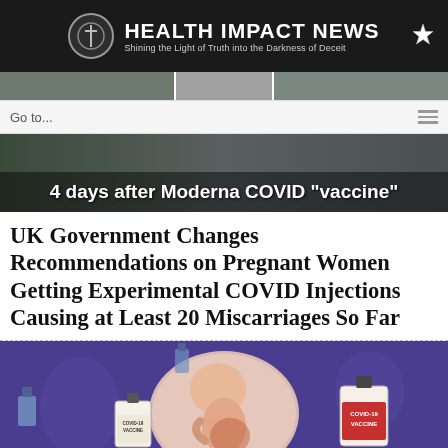HEALTH IMPACT NEWS — Shining the Light of Truth into the Darkness of Deceit
[Figure (photo): Three-panel image strip showing people]
Go to...
[Figure (photo): Hero banner photo with overlay text: 4 days after Moderna COVID "vaccine"]
UK Government Changes Recommendations on Pregnant Women Getting Experimental COVID Injections Causing at Least 20 Miscarriages So Far
[Figure (illustration): Illustration of a fetus in womb surrounded by COVID-19 vaccine vials labeled COVID-19 VACCINE on a purple background]